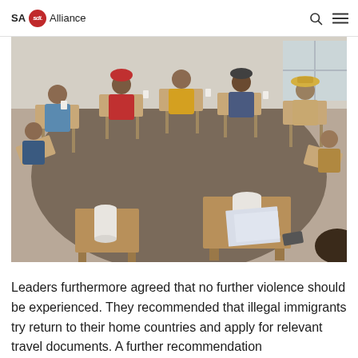SA SDI Alliance
[Figure (photo): People seated in a circular arrangement of desks in a meeting room, cups on the desks, engaged in a community meeting or dialogue session.]
Leaders furthermore agreed that no further violence should be experienced. They recommended that illegal immigrants try return to their home countries and apply for relevant travel documents. A further recommendation